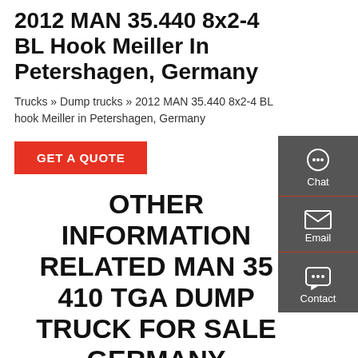2012 MAN 35.440 8x2-4 BL Hook Meiller In Petershagen, Germany
Trucks » Dump trucks » 2012 MAN 35.440 8x2-4 BL hook Meiller in Petershagen, Germany
GET A QUOTE
OTHER INFORMATION RELATED MAN 35 410 TGA DUMP TRUCK FOR SALE GERMANY SITTENSEN
Man Diesel Dump Truck
Man Rescued From Dump Truck Speaks About